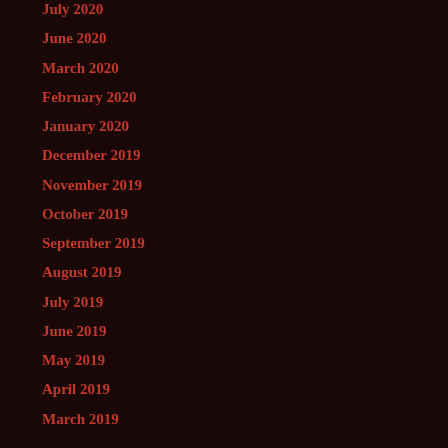July 2020
June 2020
March 2020
February 2020
January 2020
December 2019
November 2019
October 2019
September 2019
August 2019
July 2019
June 2019
May 2019
April 2019
March 2019